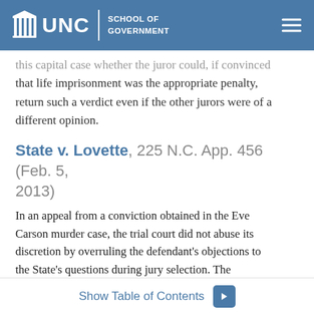UNC School of Government
this capital case whether the juror could, if convinced that life imprisonment was the appropriate penalty, return such a verdict even if the other jurors were of a different opinion.
State v. Lovette, 225 N.C. App. 456 (Feb. 5, 2013)
In an appeal from a conviction obtained in the Eve Carson murder case, the trial court did not abuse its discretion by overruling the defendant's objections to the State's questions during jury selection. The defendant objected to questions about whether jurors could consider testimony by witnesses who had criminal records, had received immunity deals for their
Show Table of Contents